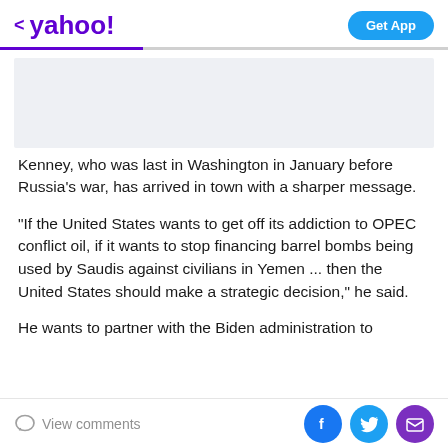< yahoo!  Get App
[Figure (other): Advertisement placeholder block, light grey background]
Kenney, who was last in Washington in January before Russia's war, has arrived in town with a sharper message.
“If the United States wants to get off its addiction to OPEC conflict oil, if it wants to stop financing barrel bombs being used by Saudis against civilians in Yemen ... then the United States should make a strategic decision,” he said.
He wants to partner with the Biden administration to
View comments  [Facebook] [Twitter] [Email]